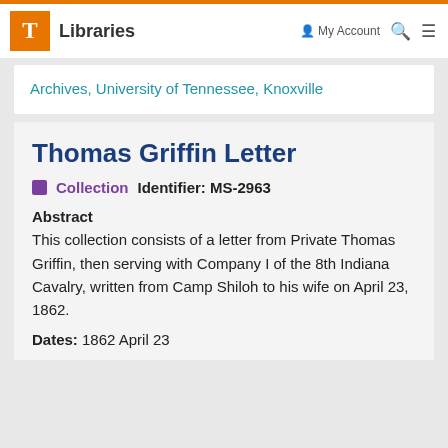T Libraries | My Account | Search | Menu
Archives, University of Tennessee, Knoxville
Thomas Griffin Letter
Collection   Identifier: MS-2963
Abstract
This collection consists of a letter from Private Thomas Griffin, then serving with Company I of the 8th Indiana Cavalry, written from Camp Shiloh to his wife on April 23, 1862.
Dates: 1862 April 23